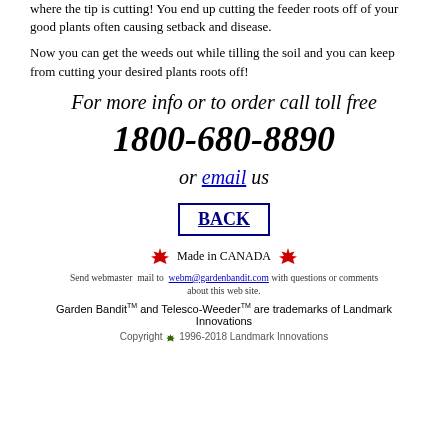where the tip is cutting! You end up cutting the feeder roots off of your good plants often causing setback and disease.
Now you can get the weeds out while tilling the soil and you can keep from cutting your desired plants roots off!
For more info or to order call toll free
1800-680-8890
or email us
BACK
Made in CANADA
Send webmaster mail to webm@gardenbandit.com with questions or comments about this web site.
Garden Bandit™ and Telesco-Weeder™ are trademarks of Landmark Innovations
Copyright 1996-2018 Landmark Innovations